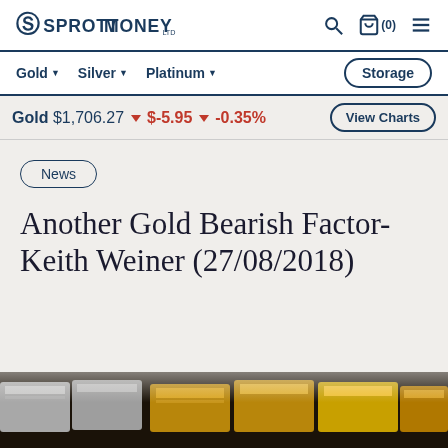SPROTT MONEY
Gold ▼  Silver ▼  Platinum ▼  Storage
Gold $1,706.27 ▼ $-5.95 ▼ -0.35%  View Charts
News
Another Gold Bearish Factor- Keith Weiner (27/08/2018)
[Figure (photo): Close-up photo of gold and silver bullion bars]